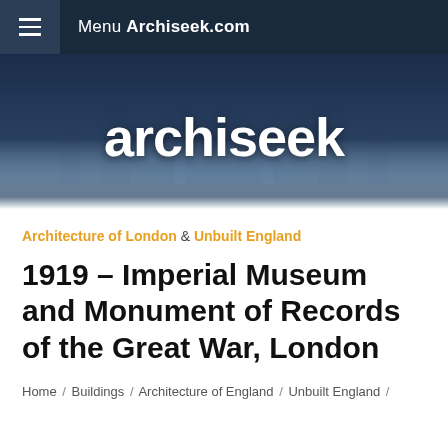Menu Archiseek.com
[Figure (screenshot): Archiseek website hero banner with cathedral gothic architecture background and white 'archiseek' logo text, fading to white at bottom]
Architecture of London & Unbuilt England
1919 – Imperial Museum and Monument of Records of the Great War, London
Home / Buildings / Architecture of England / Unbuilt England /